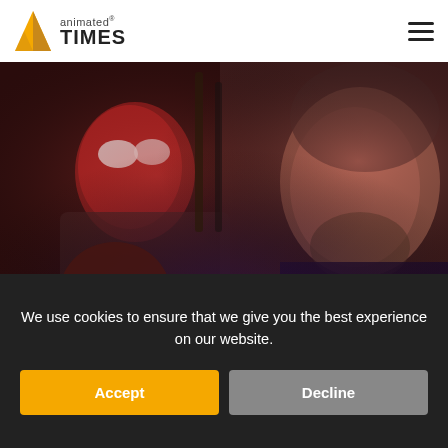animated® TIMES
[Figure (photo): Action movie scene showing Deadpool in red costume and a bearded man in a dark costume, composited together in a dramatic pose]
We use cookies to ensure that we give you the best experience on our website.
Accept
Decline